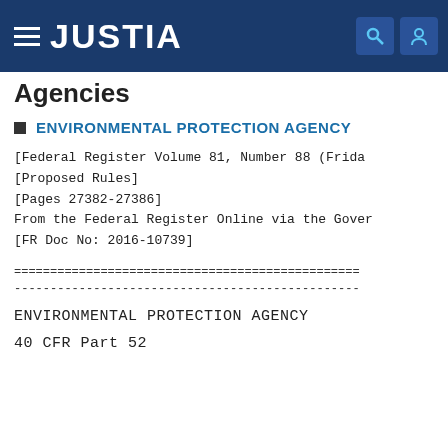JUSTIA
Agencies
ENVIRONMENTAL PROTECTION AGENCY
[Federal Register Volume 81, Number 88 (Friday, ...]
[Proposed Rules]
[Pages 27382-27386]
From the Federal Register Online via the Govern...
[FR Doc No: 2016-10739]
========================================================
--------------------------------------------------------
ENVIRONMENTAL PROTECTION AGENCY
40 CFR Part 52